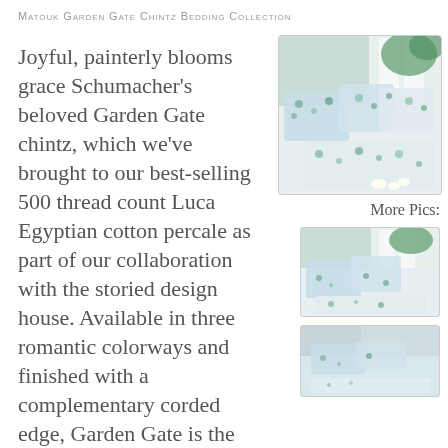Matouk Garden Gate Chintz Bedding Collection
Joyful, painterly blooms grace Schumacher's beloved Garden Gate chintz, which we've brought to our best-selling 500 thread count Luca Egyptian cotton percale as part of our collaboration with the storied design house. Available in three romantic colorways and finished with a complementary corded edge, Garden Gate is the epitome of chic.
[Figure (photo): Matouk Garden Gate Chintz bedding displayed on a bed with floral blue and green pattern pillows and duvet, natural light from windows]
More Pics:
[Figure (photo): Smaller thumbnail of Matouk Garden Gate Chintz bedding from a different angle]
[Figure (photo): Second smaller thumbnail of Matouk Garden Gate Chintz bedding]